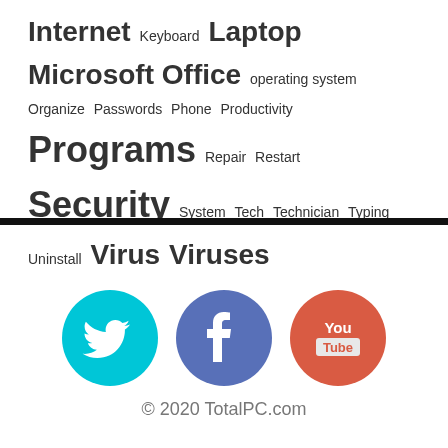[Figure (infographic): Tag cloud with computer-related terms in varying font sizes: Internet, Keyboard, Laptop, Microsoft Office, operating system, Organize, Passwords, Phone, Productivity, Programs, Repair, Restart, Security, System, Tech, Technician, Typing, Uninstall, Virus, Viruses]
[Figure (infographic): Three social media icons in circles: Twitter (cyan), Facebook (blue-purple), YouTube (orange-red)]
© 2020 TotalPC.com